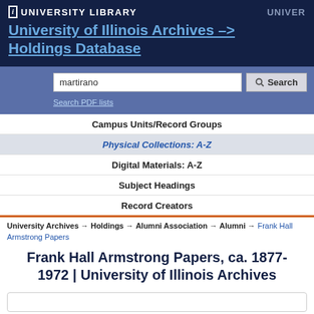UNIVERSITY LIBRARY   UNIVER
University of Illinois Archives –> Holdings Database
martirano
Search PDF lists
Campus Units/Record Groups
Physical Collections: A-Z
Digital Materials: A-Z
Subject Headings
Record Creators
University Archives → Holdings → Alumni Association → Alumni → Frank Hall Armstrong Papers
Frank Hall Armstrong Papers, ca. 1877-1972 | University of Illinois Archives